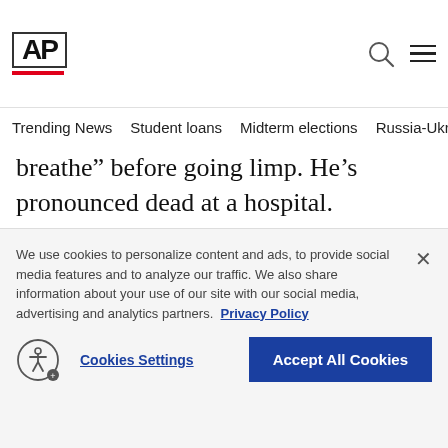AP
Trending News  Student loans  Midterm elections  Russia-Ukr
breathe” before going limp. He’s pronounced dead at a hospital.
ADVERTISEMENT
We use cookies to personalize content and ads, to provide social media features and to analyze our traffic. We also share information about your use of our site with our social media, advertising and analytics partners. Privacy Policy
Cookies Settings
Accept All Cookies